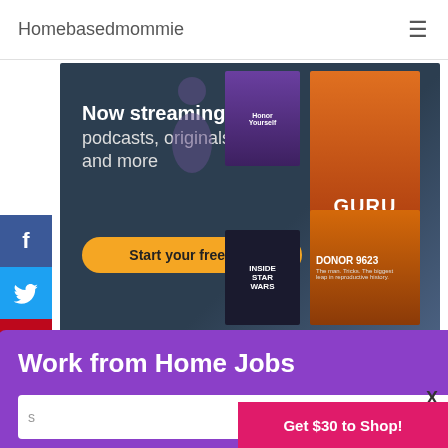Homebaseдmommie
[Figure (screenshot): Audible streaming ad banner: 'Now streaming: podcasts, originals, and more' with a yellow 'Start your free trial' button and book/show covers including GURU and DONOR 9623]
[Figure (screenshot): Social media share sidebar with Facebook, Twitter, and Pinterest buttons]
[Figure (screenshot): Purple popup modal overlay for 'Work from Home Jobs' email signup with an email input field and blue submit button, close X button, and privacy note 'your information with anyone']
assume you accept this policy as long as you are using this website
Accept
Get $30 to Shop!